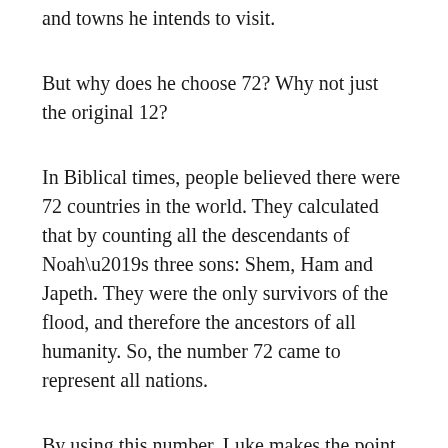and towns he intends to visit.
But why does he choose 72? Why not just the original 12?
In Biblical times, people believed there were 72 countries in the world. They calculated that by counting all the descendants of Noah’s three sons: Shem, Ham and Japeth. They were the only survivors of the flood, and therefore the ancestors of all humanity. So, the number 72 came to represent all nations.
By using this number, Luke makes the point that Jesus is sending his followers not only to Israel, but also to the whole world.[i] Jesus has commissioned them to go tell everyone about